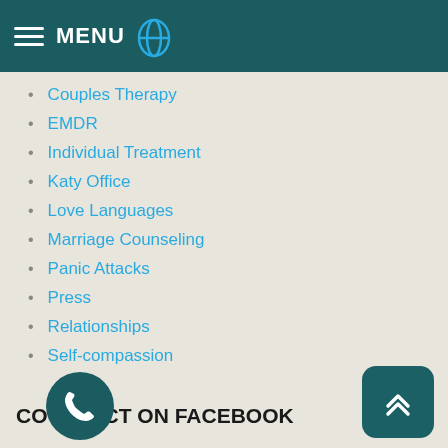MENU
Couples Therapy
EMDR
Individual Treatment
Katy Office
Love Languages
Marriage Counseling
Panic Attacks
Press
Relationships
Self-compassion
Stress
Therapists
Therapy
CONNECT ON FACEBOOK